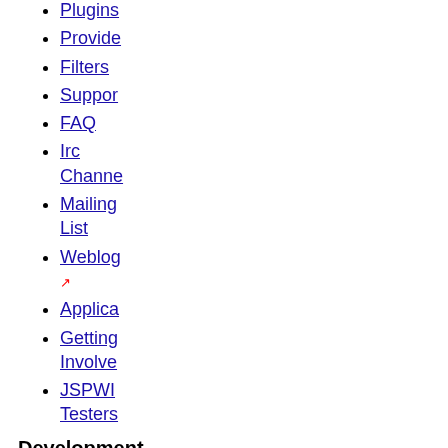Plugins
Provide
Filters
Suppor
FAQ
Irc Channel
Mailing List
Weblog ↗
Applica
Getting Involved
JSPWI Testers
Development
Starting points
Open bugs ↗
Report new bug ↗
New